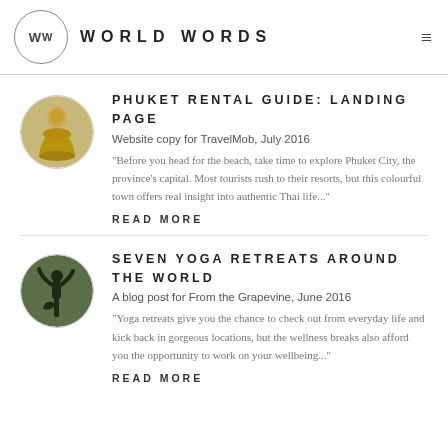WW WORLD WORDS
PHUKET RENTAL GUIDE: LANDING PAGE
Website copy for TravelMob, July 2016
"Before you head for the beach, take time to explore Phuket City, the province's capital. Most tourists rush to their resorts, but this colourful town offers real insight into authentic Thai life..."
READ MORE
SEVEN YOGA RETREATS AROUND THE WORLD
A blog post for From the Grapevine, June 2016
"Yoga retreats give you the chance to check out from everyday life and kick back in gorgeous locations, but the wellness breaks also afford you the opportunity to work on your wellbeing..."
READ MORE